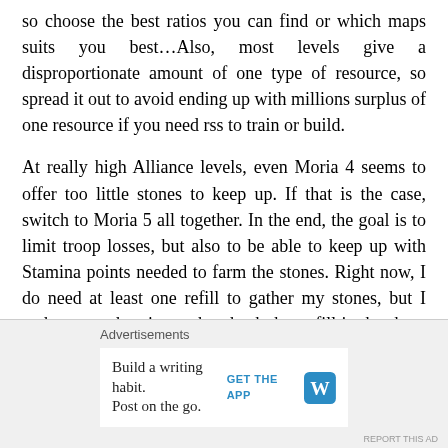so choose the best ratios you can find or which maps suits you best…Also, most levels give a disproportionate amount of one type of resource, so spread it out to avoid ending up with millions surplus of one resource if you need rss to train or build.
At really high Alliance levels, even Moria 4 seems to offer too little stones to keep up. If that is the case, switch to Moria 5 all together. In the end, the goal is to limit troop losses, but also to be able to keep up with Stamina points needed to farm the stones. Right now, I do need at least one refill to gather my stones, but I gather enough points to buy back that refill in the shop. However, if I were to switch back to Moria 4, I would need more refills than I
Advertisements
Build a writing habit. Post on the go. GET THE APP